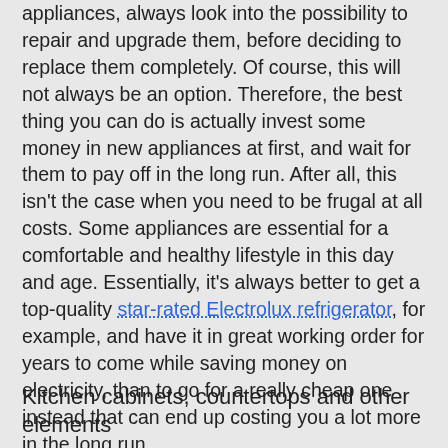appliances, always look into the possibility to repair and upgrade them, before deciding to replace them completely. Of course, this will not always be an option. Therefore, the best thing you can do is actually invest some money in new appliances at first, and wait for them to pay off in the long run. After all, this isn't the case when you need to be frugal at all costs. Some appliances are essential for a comfortable and healthy lifestyle in this day and age. Essentially, it's always better to get a top-quality star-rated Electrolux refrigerator, for example, and have it in great working order for years to come while saving money on electricity, than to go for a really cheap one instead that can end up costing you a lot more in the long run.
Kitchen cabinets, countertops and other elements